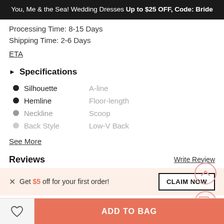You, Me & the Sea! Wedding Dresses Up to $25 OFF, Code: Bride
Processing Time: 8-15 Days
Shipping Time: 2-6 Days
ETA
Specifications
Silhouette — A-line
Hemline — Floor-length
Neckline — Scoop
Back Style — Low-V Back
See More
Reviews
Write Review
Get $5 off for your first order!
CLAIM NOW
ADD TO BAG